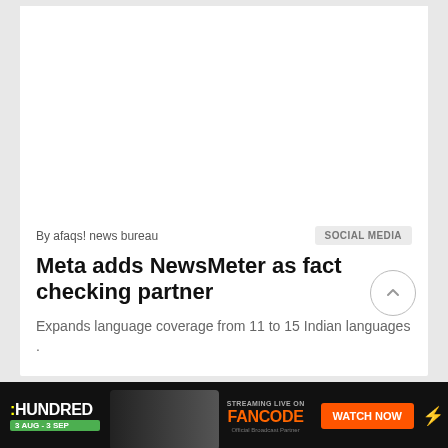[Figure (photo): White image/photo area placeholder at top of article card]
By afaqs! news bureau
SOCIAL MEDIA
Meta adds NewsMeter as fact checking partner
Expands language coverage from 11 to 15 Indian languages .
HUNDRED 3 AUG - 3 SEP   STREAMING LIVE ON FANCODE   Official Broadcast Partner   WATCH NOW